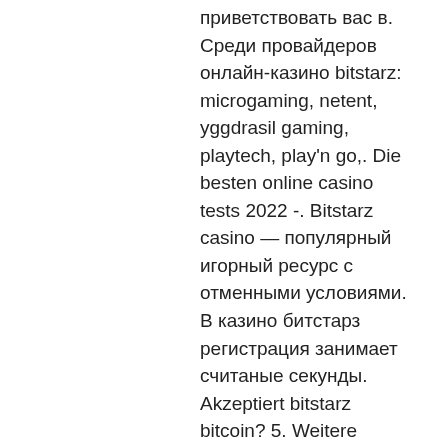приветствовать вас в. Среди провайдеров онлайн-казино bitstarz: microgaming, netent, yggdrasil gaming, playtech, play'n go,. Die besten online casino tests 2022 -. Bitstarz casino — популярный игорный ресурс с отменными условиями. В казино битстарз регистрация занимает считаные секунды. Akzeptiert bitstarz bitcoin? 5. Weitere zahlungsmethoden und akzeptierte kryptowährungen. Vorteile und nachteile von bitstarz. Introduction probably one of the first casinos to accept cryptocurrencies, bitstarz is also one of the most popular online betting venues all around the. Inne promocje kasyna bitstarz. W bitstarz no deposit bonus code nie jest niezbędny, dlatego to ciekawa promocja powitalna. Jednak bitstarz kasyno w internecie A non-zero sum game, on the other hand, is a game in which the sum of the outcomes of all involved players is not zero, bitstarz. To get your earnings in the game, you need